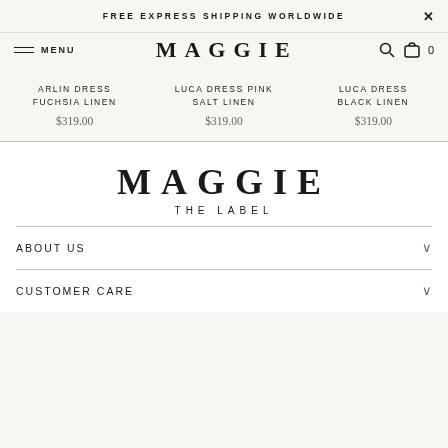FREE EXPRESS SHIPPING WORLDWIDE  ×
MENU  MAGGIE  🔍  🛒 0
ARLIN DRESS FUCHSIA LINEN
$319.00
LUCA DRESS PINK SALT LINEN
$319.00
LUCA DRESS BLACK LINEN
$319.00
MAGGIE
THE LABEL
ABOUT US
CUSTOMER CARE